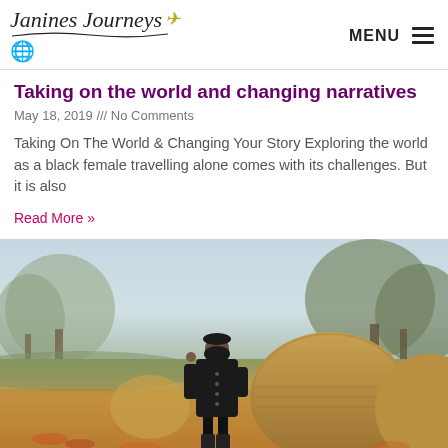Janines Journeys — MENU
Taking on the world and changing narratives
May 18, 2019 /// No Comments
Taking On The World & Changing Your Story Exploring the world as a black female travelling alone comes with its challenges. But it is also
Read More »
[Figure (photo): A woman in a dark coat and knee-high boots standing in a field with large hay bales, surrounded by autumn trees and fallen leaves.]